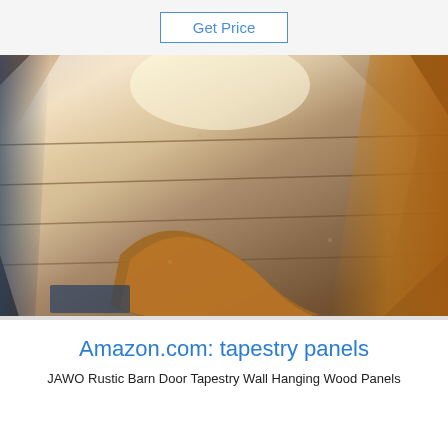Get Price
[Figure (photo): Photo of a dark metallic/barn door panel with reflective surface, partially wrapped in orange/brown plastic packaging material, photographed from above at an angle with bright light reflection visible on the surface.]
[Figure (logo): TOP logo with blue dot/sparkle design above the letters TOP in blue]
Amazon.com: tapestry panels
JAWO Rustic Barn Door Tapestry Wall Hanging Wood Panels